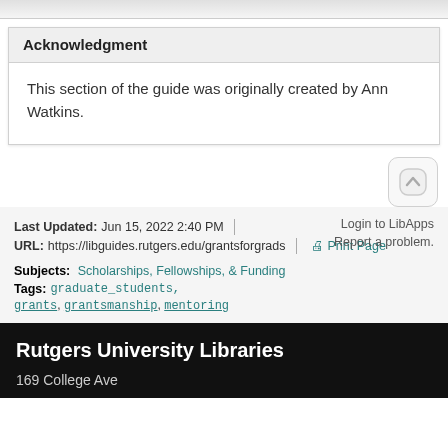Acknowledgment
This section of the guide was originally created by Ann Watkins.
Last Updated: Jun 15, 2022 2:40 PM | URL: https://libguides.rutgers.edu/grantsforgrads
Print Page
Login to LibApps
Report a problem.
Subjects: Scholarships, Fellowships, & Funding
Tags: graduate_students, grants, grantsmanship, mentoring
Rutgers University Libraries
169 College Ave